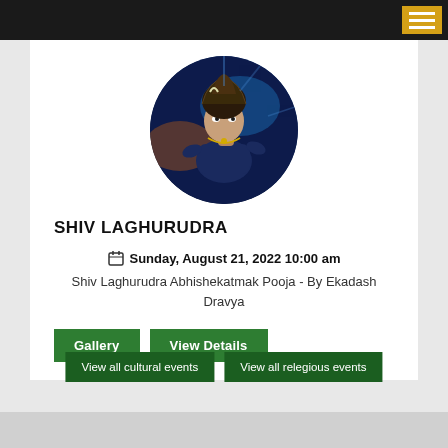[Figure (photo): Circular image of Shiva deity with cosmic blue background, ornaments and traditional iconography]
SHIV LAGHURUDRA
Sunday, August 21, 2022 10:00 am
Shiv Laghurudra Abhishekatmak Pooja - By Ekadash Dravya
Gallery
View Details
View all cultural events
View all relegious events